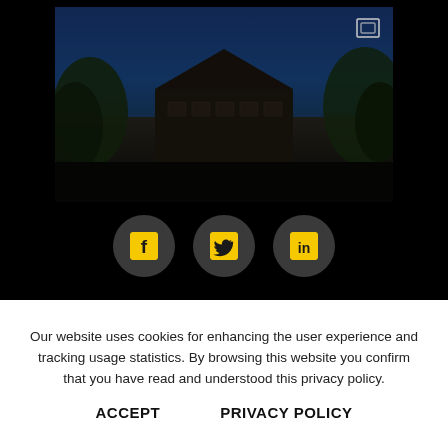[Figure (photo): Dark photo of a single-story house with trees, blue sky, taken in low light or shadowed. White rectangular fullscreen icon in top right corner of the photo frame.]
[Figure (infographic): Three dark grey circular social media buttons: Facebook (f icon), Twitter (bird icon), LinkedIn (in icon), each with yellow icons on dark grey circles.]
Our website uses cookies for enhancing the user experience and tracking usage statistics. By browsing this website you confirm that you have read and understood this privacy policy.
ACCEPT    PRIVACY POLICY